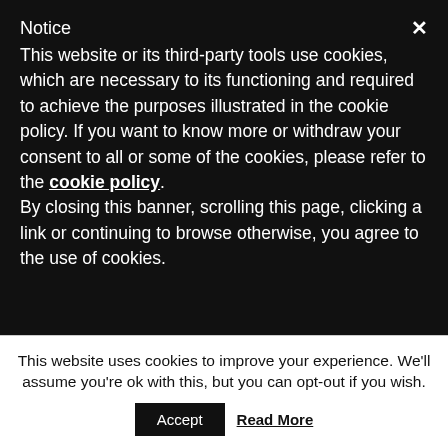Notice
This website or its third-party tools use cookies, which are necessary to its functioning and required to achieve the purposes illustrated in the cookie policy. If you want to know more or withdraw your consent to all or some of the cookies, please refer to the cookie policy. By closing this banner, scrolling this page, clicking a link or continuing to browse otherwise, you agree to the use of cookies.
flips :-) Truly impressive and motivating. Cheers
albert yemenian
This website uses cookies to improve your experience. We'll assume you're ok with this, but you can opt-out if you wish.